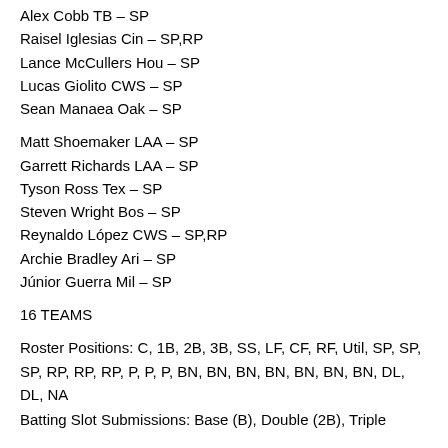Rich Hill BAB – SP
Alex Cobb TB – SP
Raisel Iglesias Cin – SP,RP
Lance McCullers Hou – SP
Lucas Giolito CWS – SP
Sean Manaea Oak – SP
Matt Shoemaker LAA – SP
Garrett Richards LAA – SP
Tyson Ross Tex – SP
Steven Wright Bos – SP
Reynaldo López CWS – SP,RP
Archie Bradley Ari – SP
Júnior Guerra Mil – SP
16 TEAMS
Roster Positions: C, 1B, 2B, 3B, SS, LF, CF, RF, Util, SP, SP, SP, RP, RP, RP, P, P, P, BN, BN, BN, BN, BN, BN, BN, DL, DL, NA
Batting Slot Submissions: Base (B), Double (2B), Triple